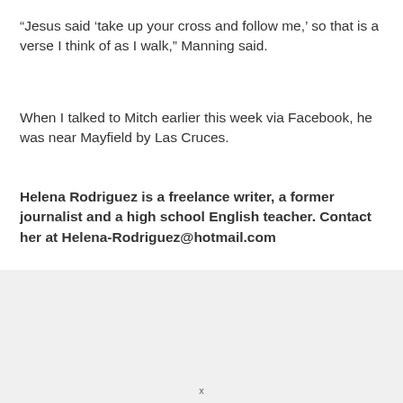“Jesus said ‘take up your cross and follow me,’ so that is a verse I think of as I walk,” Manning said.
When I talked to Mitch earlier this week via Facebook, he was near Mayfield by Las Cruces.
Helena Rodriguez is a freelance writer, a former journalist and a high school English teacher. Contact her at Helena-Rodriguez@hotmail.com
[Figure (photo): Advertisement thumbnail showing outdoor/lawn service image with person holding tool, next to text 'Ashburn Homeowners']